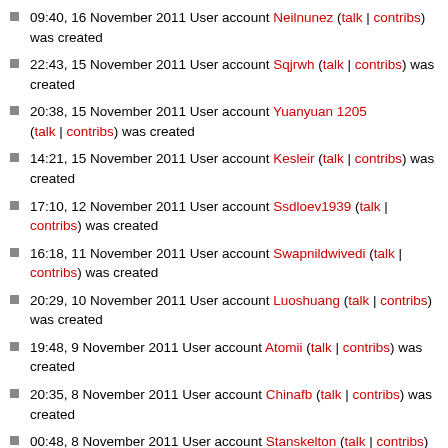09:40, 16 November 2011 User account Neilnunez (talk | contribs) was created
22:43, 15 November 2011 User account Sqjrwh (talk | contribs) was created
20:38, 15 November 2011 User account Yuanyuan 1205 (talk | contribs) was created
14:21, 15 November 2011 User account Kesleir (talk | contribs) was created
17:10, 12 November 2011 User account Ssdloev1939 (talk | contribs) was created
16:18, 11 November 2011 User account Swapnildwivedi (talk | contribs) was created
20:29, 10 November 2011 User account Luoshuang (talk | contribs) was created
19:48, 9 November 2011 User account Atomii (talk | contribs) was created
20:35, 8 November 2011 User account Chinafb (talk | contribs) was created
00:48, 8 November 2011 User account Stanskelton (talk | contribs) was created
17:33, 6 November 2011 User account Andreyrogov1958 (talk | contribs) was created
17:39, 5 November 2011 User account Vandor2011 (talk | contribs) was